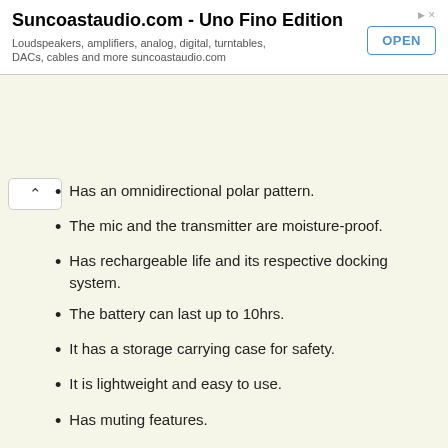[Figure (other): Advertisement banner for Suncoastaudio.com - Uno Fino Edition with an OPEN button]
Has an omnidirectional polar pattern.
The mic and the transmitter are moisture-proof.
Has rechargeable life and its respective docking system.
The battery can last up to 10hrs.
It has a storage carrying case for safety.
It is lightweight and easy to use.
Has muting features.
Features a USB DC input for power and recharging.